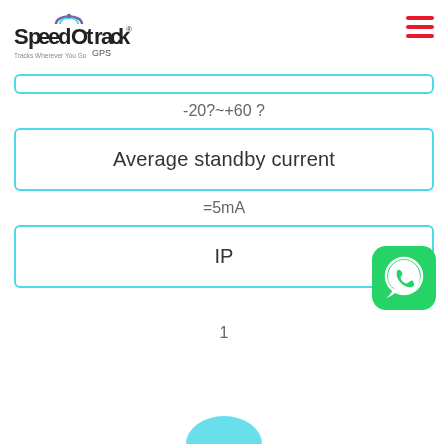[Figure (logo): SpeedOtrack GPS logo with purple and blue arc over letter O, tagline Tracks Wherever You Go]
-20?~+60 ?
| Average standby current |
| --- |
=5mA
| IP |
| --- |
1